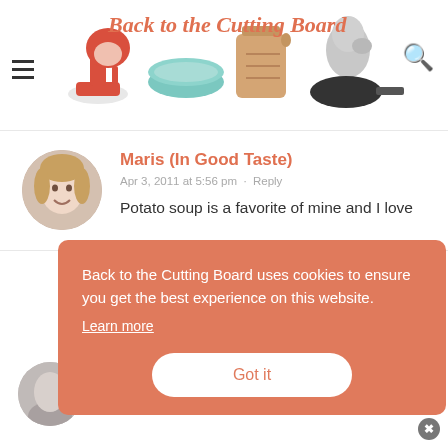Back to the Cutting Board
[Figure (logo): Back to the Cutting Board blog logo with kitchen items (mixer, bowl, cutting board, pan) and cursive text]
Maris (In Good Taste)
Apr 3, 2011 at 5:56 pm · Reply
Potato soup is a favorite of mine and I love
Back to the Cutting Board uses cookies to ensure you get the best experience on this website. Learn more Got it
Apr 3, 2011 at 1:04 pm · Reply